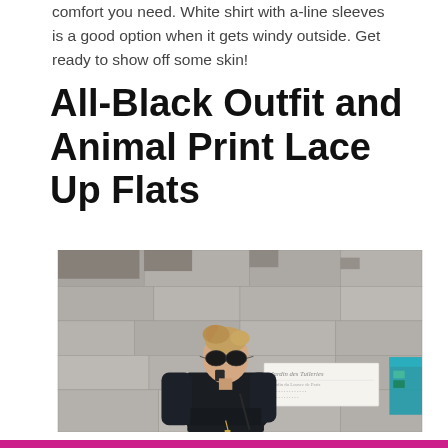comfort you need. White shirt with a-line sleeves is a good option when it gets windy outside. Get ready to show off some skin!
All-Black Outfit and Animal Print Lace Up Flats
[Figure (photo): A woman dressed in all-black outfit standing in front of a stone wall, wearing sunglasses and talking on the phone. A Jardin des Tuileries sign is visible in the background.]